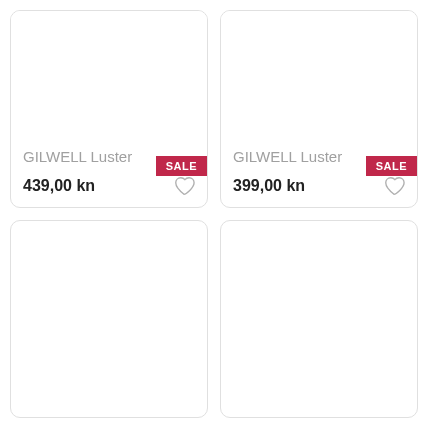GILWELL Luster
439,00 kn
GILWELL Luster
399,00 kn